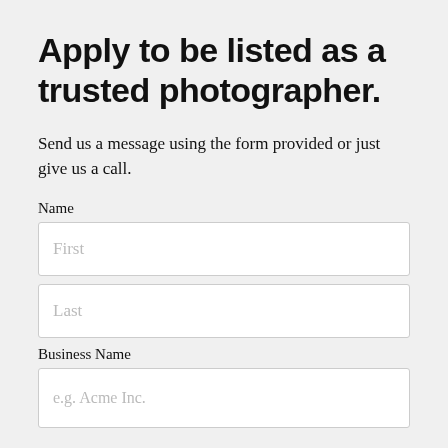Apply to be listed as a trusted photographer.
Send us a message using the form provided or just give us a call.
Name
First
Last
Business Name
e.g. Acme Inc.